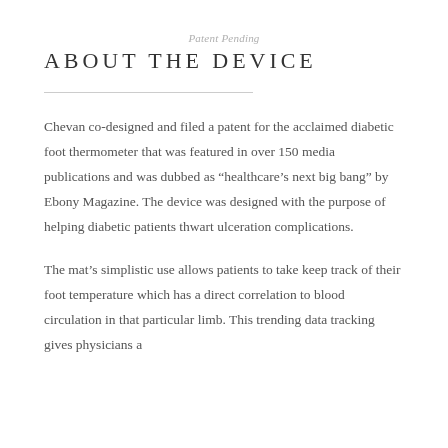Patent Pending
ABOUT THE DEVICE
Chevan co-designed and filed a patent for the acclaimed diabetic foot thermometer that was featured in over 150 media publications and was dubbed as “healthcare’s next big bang” by Ebony Magazine. The device was designed with the purpose of helping diabetic patients thwart ulceration complications.
The mat’s simplistic use allows patients to take keep track of their foot temperature which has a direct correlation to blood circulation in that particular limb. This trending data tracking gives physicians a